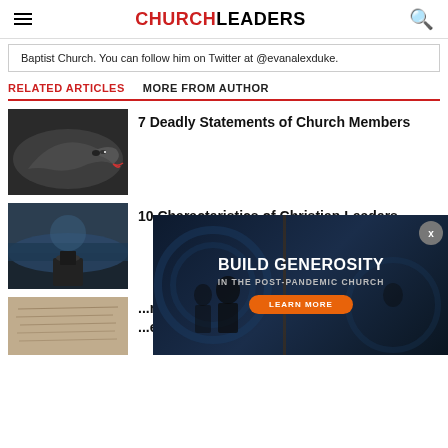CHURCHLEADERS
Baptist Church. You can follow him on Twitter at @evanalexduke.
RELATED ARTICLES   MORE FROM AUTHOR
[Figure (photo): Close-up photo of a snake with open mouth]
7 Deadly Statements of Church Members
[Figure (photo): Outdoor landscape photo with person near water]
10 Characteristics of Christian Leaders
[Figure (photo): Aged paper with handwriting]
...aphy ...ence
[Figure (advertisement): BUILD GENEROSITY IN THE POST-PANDEMIC CHURCH advertisement overlay with LEARN MORE button]